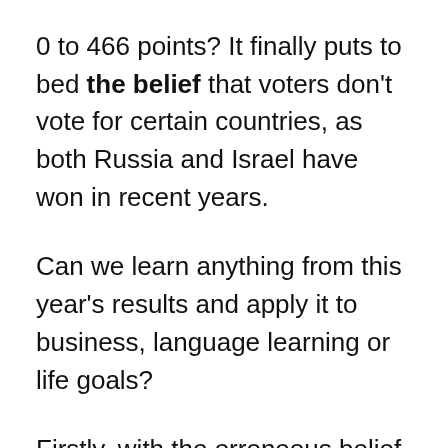0 to 466 points? It finally puts to bed the belief that voters don't vote for certain countries, as both Russia and Israel have won in recent years.
Can we learn anything from this year's results and apply it to business, language learning or life goals?
Firstly, with the erroneous belief behind them, they decided to take the competition seriously (attitude), something that they hadn't done for